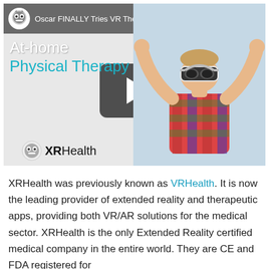[Figure (screenshot): YouTube video thumbnail showing 'Oscar FINALLY Tries VR Therapy...' with XRHealth At-home Physical Therapy branding on the left and a person wearing a VR headset with arms raised on the right. A large play button is visible in the center. The XRHealth logo appears below the video on the left side.]
XRHealth was previously known as VRHealth. It is now the leading provider of extended reality and therapeutic apps, providing both VR/AR solutions for the medical sector. XRHealth is the only Extended Reality certified medical company in the entire world. They are CE and FDA registered for